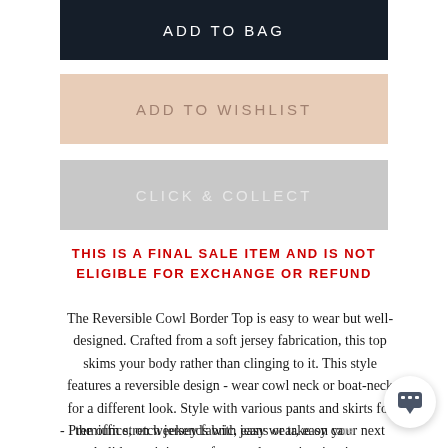ADD TO BAG
ADD TO WISHLIST
CLICK & COLLECT
THIS IS A FINAL SALE ITEM AND IS NOT ELIGIBLE FOR EXCHANGE OR REFUND
The Reversible Cowl Border Top is easy to wear but well-designed. Crafted from a soft jersey fabrication, this top skims your body rather than clinging to it. This style features a reversible design - wear cowl neck or boat-neck for a different look. Style with various pants and skirts for the office, on weekends with jeans or take on your next holiday as it is great for travel - requires ironing.
- Premium stretch jersey fabric, easy wear, easy care